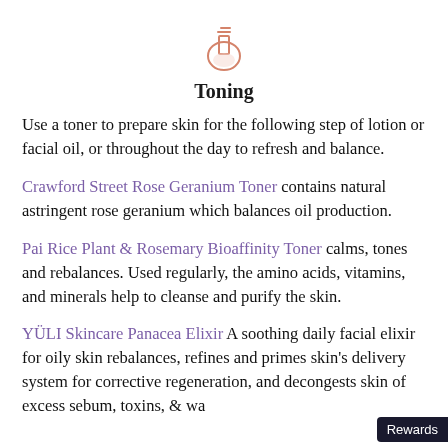[Figure (illustration): Small line-art icon of a laboratory flask/bottle with two lines at the top, drawn in salmon/coral color, centered at top of page]
Toning
Use a toner to prepare skin for the following step of lotion or facial oil, or throughout the day to refresh and balance.
Crawford Street Rose Geranium Toner contains natural astringent rose geranium which balances oil production.
Pai Rice Plant & Rosemary Bioaffinity Toner calms, tones and rebalances. Used regularly, the amino acids, vitamins, and minerals help to cleanse and purify the skin.
YÜLI Skincare Panacea Elixir A soothing daily facial elixir for oily skin rebalances, refines and primes skin's delivery system for corrective regeneration, and decongests skin of excess sebum, toxins, & waste